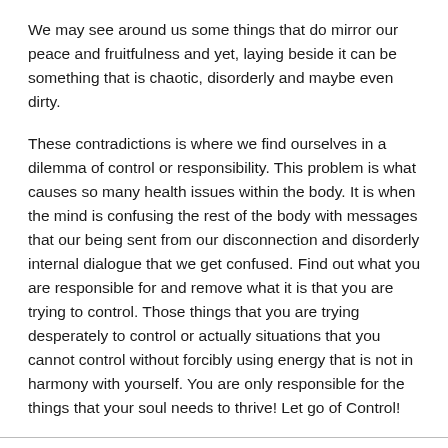We may see around us some things that do mirror our peace and fruitfulness and yet, laying beside it can be something that is chaotic, disorderly and maybe even dirty.
These contradictions is where we find ourselves in a dilemma of control or responsibility. This problem is what causes so many health issues within the body. It is when the mind is confusing the rest of the body with messages that our being sent from our disconnection and disorderly internal dialogue that we get confused. Find out what you are responsible for and remove what it is that you are trying to control. Those things that you are trying desperately to control or actually situations that you cannot control without forcibly using energy that is not in harmony with yourself. You are only responsible for the things that your soul needs to thrive! Let go of Control!